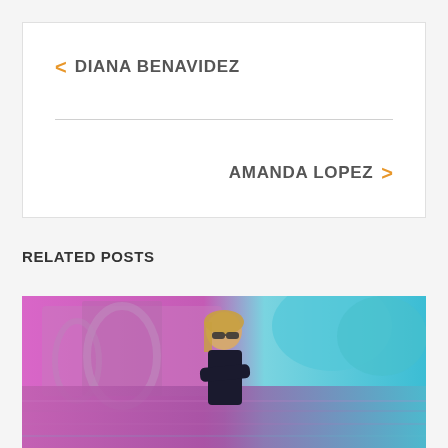< DIANA BENAVIDEZ
AMANDA LOPEZ >
RELATED POSTS
[Figure (photo): Woman with sunglasses standing in front of a colorful illuminated fountain and architectural backdrop, with pink and teal/cyan lighting effects on water]